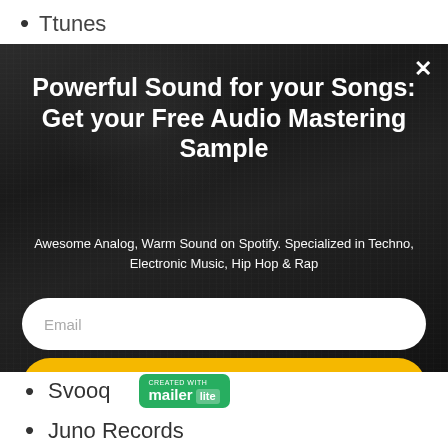Ttunes
[Figure (screenshot): Modal popup overlay on a dark blurred microphone/music studio background. Contains a headline, subtitle, email input field, and a yellow CTA button. A white X close button is in the top right corner.]
Powerful Sound for your Songs: Get your Free Audio Mastering Sample
Awesome Analog, Warm Sound on Spotify. Specialized in Techno, Electronic Music, Hip Hop & Rap
Email
Try for Free
Svooq
[Figure (logo): MailerLite badge: green rounded rectangle with 'CREATED WITH' text and 'mailer lite' logo in white]
Juno Records